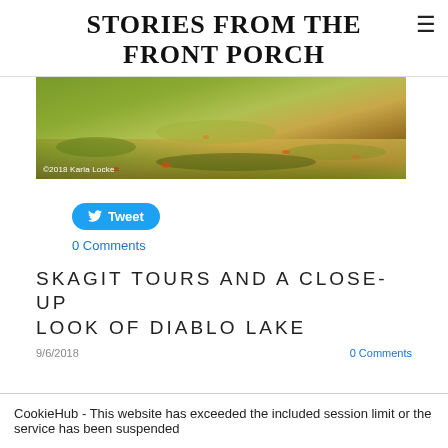STORIES FROM THE FRONT PORCH
[Figure (photo): Outdoor ground-level photo of autumn grass and fallen leaves, with copyright watermark '©2018 Karla Locke']
Tweet
0 Comments
SKAGIT TOURS AND A CLOSE-UP LOOK OF DIABLO LAKE
9/6/2018
0 Comments
CookieHub - This website has exceeded the included session limit or the service has been suspended